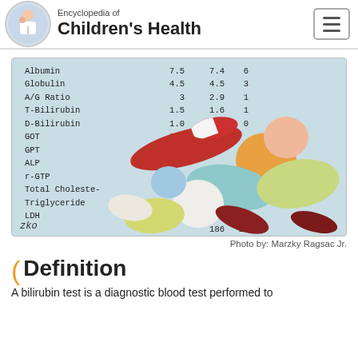Encyclopedia of Children's Health
[Figure (photo): Medical lab report showing blood test values (Albumin, Globulin, A/G Ratio, T-Bilirubin, D-Bilirubin, GOT, GPT, ALP, r-GTP, Total Cholesterol, Triglyceride, LDH) with various colorful pills and capsules overlaid on top.]
Photo by: Marzky Ragsac Jr.
Definition
A bilirubin test is a diagnostic blood test performed to